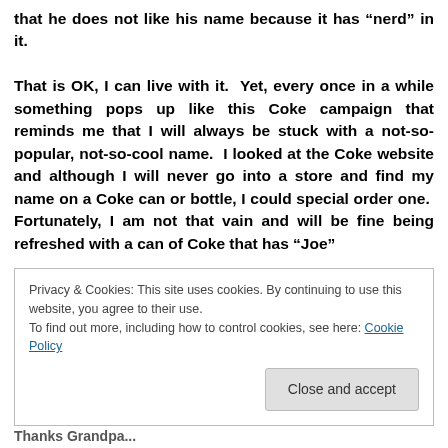that he does not like his name because it has “nerd” in it.

That is OK, I can live with it.  Yet, every once in a while something pops up like this Coke campaign that reminds me that I will always be stuck with a not-so-popular, not-so-cool name.  I looked at the Coke website and although I will never go into a store and find my name on a Coke can or bottle, I could special order one.  Fortunately, I am not that vain and will be fine being refreshed with a can of Coke that has “Joe”
Privacy & Cookies: This site uses cookies. By continuing to use this website, you agree to their use.
To find out more, including how to control cookies, see here: Cookie Policy
Close and accept
Thanks Grandpa...